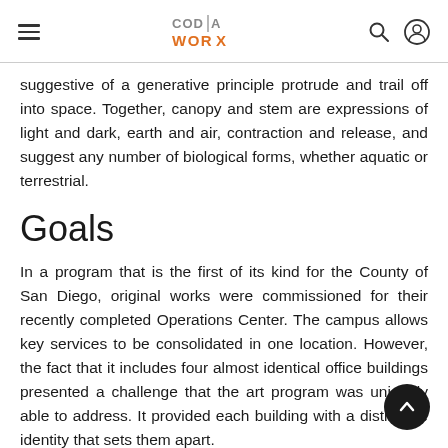CODA WORX
suggestive of a generative principle protrude and trail off into space. Together, canopy and stem are expressions of light and dark, earth and air, contraction and release, and suggest any number of biological forms, whether aquatic or terrestrial.
Goals
In a program that is the first of its kind for the County of San Diego, original works were commissioned for their recently completed Operations Center. The campus allows key services to be consolidated in one location. However, the fact that it includes four almost identical office buildings presented a challenge that the art program was uniquely able to address. It provided each building with a distinctive identity that sets them apart.